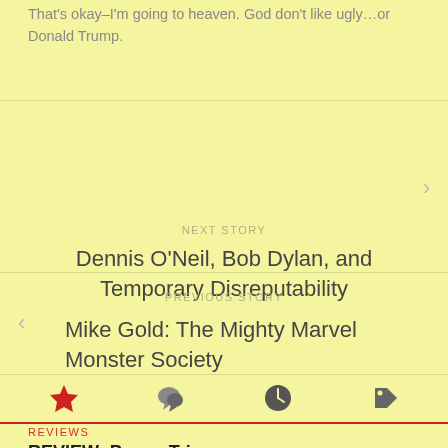That's okay-I'm going to heaven. God don't like ugly...or Donald Trump.
NEXT STORY
Dennis O'Neil, Bob Dylan, and Temporary Disreputability
PREVIOUS STORY
Mike Gold: The Mighty Marvel Monster Society
REVIEWS
REVIEW: Power Trip
AUGUST 15, 2022